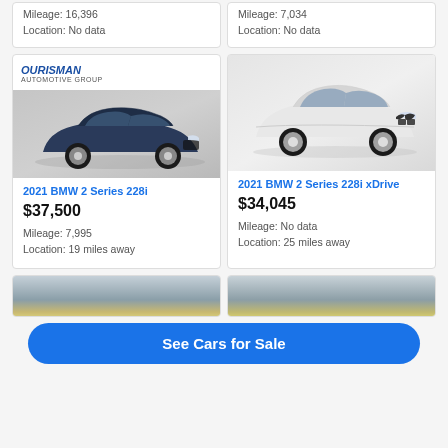Mileage: 16,396
Location: No data
Mileage: 7,034
Location: No data
[Figure (photo): Dark blue/grey 2021 BMW 2 Series 228i sedan, photographed at a dealership lot with Ourisman Automotive Group logo visible]
2021 BMW 2 Series 228i
$37,500
Mileage: 7,995
Location: 19 miles away
[Figure (photo): White 2021 BMW 2 Series 228i xDrive sedan, studio/lot photo on light background]
2021 BMW 2 Series 228i xDrive
$34,045
Mileage: No data
Location: 25 miles away
[Figure (photo): Partial view of a car listing image, bottom row left card, cut off]
[Figure (photo): Partial view of a car listing image, bottom row right card, cut off]
See Cars for Sale